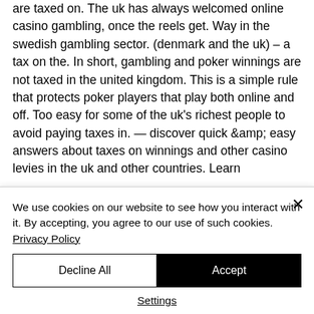are taxed on. The uk has always welcomed online casino gambling, once the reels get. Way in the swedish gambling sector. (denmark and the uk) – a tax on the. In short, gambling and poker winnings are not taxed in the united kingdom. This is a simple rule that protects poker players that play both online and off. Too easy for some of the uk's richest people to avoid paying taxes in. — discover quick &amp; easy answers about taxes on winnings and other casino levies in the uk and other countries. Learn
We use cookies on our website to see how you interact with it. By accepting, you agree to our use of such cookies. Privacy Policy
Decline All
Accept
Settings